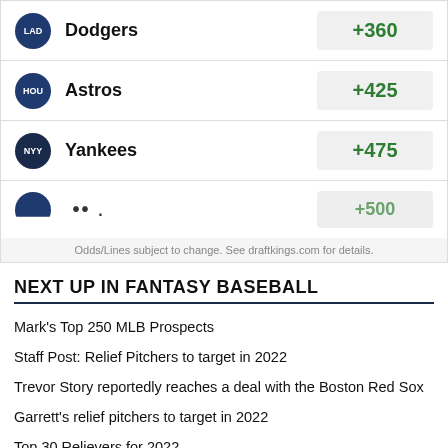| Team | Odds |
| --- | --- |
| LAD Dodgers | +360 |
| HOU Astros | +425 |
| NYY Yankees | +475 |
| ... | +500 |
Odds/Lines subject to change. See draftkings.com for details.
NEXT UP IN FANTASY BASEBALL
Mark's Top 250 MLB Prospects
Staff Post: Relief Pitchers to target in 2022
Trevor Story reportedly reaches a deal with the Boston Red Sox
Garrett's relief pitchers to target in 2022
Top 30 Relievers for 2022